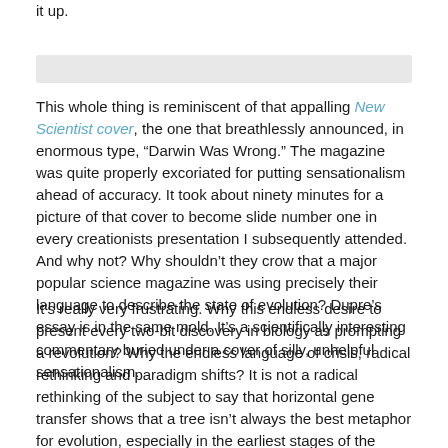it up.
[Figure (other): Gray horizontal bar/divider element]
This whole thing is reminiscent of that appalling New Scientist cover, the one that breathlessly announced, in enormous type, “Darwin Was Wrong.” The magazine was quite properly excoriated for putting sensationalism ahead of accuracy. It took about ninety minutes for a picture of that cover to become slide number one in every creationists presentation I subsequently attended. And why not? Why shouldn’t they crow that a major popular science magazine was using precisely their language to describe the state of evolution? Dupre’s essay is in the same mold. It’s a scientifically interesting commentary buried under a cover of silly, unhelpful sensationalism.
It’s really very frustrating. Why this endless desire to present every two-bit discovery in biology as prompting a revolution? Why the endless language of crisis, radical rethinking and paradigm shifts? It is not a radical rethinking of the subject to say that horizontal gene transfer shows that a tree isn’t always the best metaphor for evolution, especially in the earliest stages of the process. It is not a paradigm shift to go from thinking that genes alone determine the physical structure of an organism to